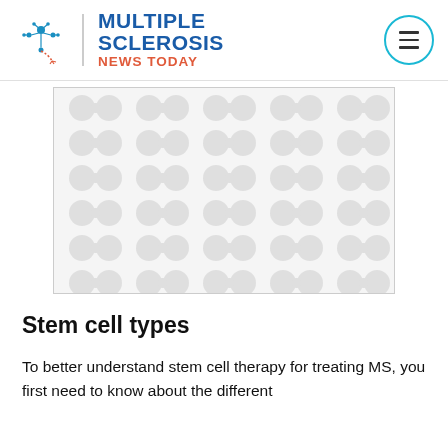Multiple Sclerosis News Today
[Figure (illustration): Decorative placeholder image with repeating cell-like blob pattern in light gray on white background]
Stem cell types
To better understand stem cell therapy for treating MS, you first need to know about the different